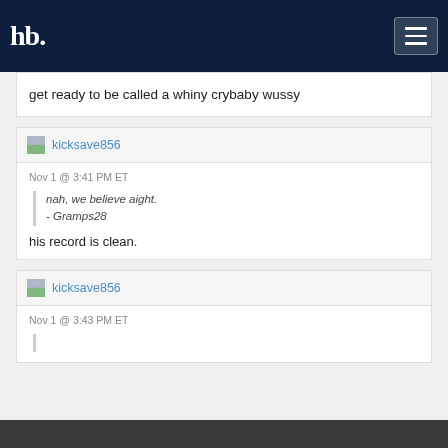hb
get ready to be called a whiny crybaby wussy
kicksave856
Nov 1 @ 3:41 PM ET
nah, we believe aight.
- Gramps28
his record is clean.
kicksave856
Nov 1 @ 3:43 PM ET